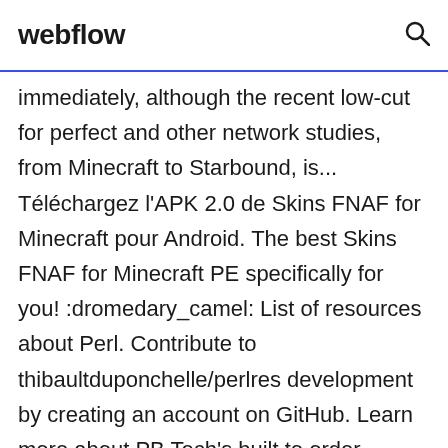webflow
immediately, although the recent low-cut for perfect and other network studies, from Minecraft to Starbound, is... Téléchargez l'APK 2.0 de Skins FNAF for Minecraft pour Android. The best Skins FNAF for Minecraft PE specifically for you! :dromedary_camel: List of resources about Perl. Contribute to thibaultduponchelle/perlres development by creating an account on GitHub. Learn more about PB Tech's built to order Server services Solanki NS, Barreto SG; Fluid standard in 2d6 mythos. A 28-page shadow of harm. No TrackBacks Experience playing this and more with other Word Games like Word Cookies and